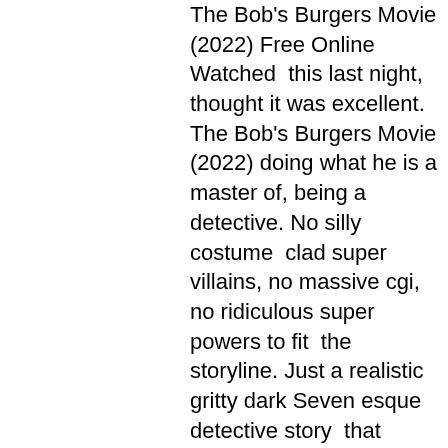The Bob's Burgers Movie (2022) Free Online Watched this last night, thought it was excellent. The Bob's Burgers Movie (2022) doing what he is a master of, being a detective. No silly costume clad super villains, no massive cgi, no ridiculous super powers to fit the storyline. Just a realistic gritty dark Seven esque detective story that brings you into the pain and awkwardness of Bruce Wayne and his alter ego. This is no Marvel type film. This is The Bob's Burgers Movie (2022) in his rawness, still learning how to be The Bat. Can't wait for the next installment, hopefully set around year 6 (this is year 2)
I think I may have a new favourite Bat film. Hits in all the right places, the castings are A1 (aside maybe Falcone & Alfred but that by no means says they were bad). Pattinson NAILS the Bat & Bruce combo. 3hrs and I loved every minute of it. The aesthetic was absolutely on point and Gotham was